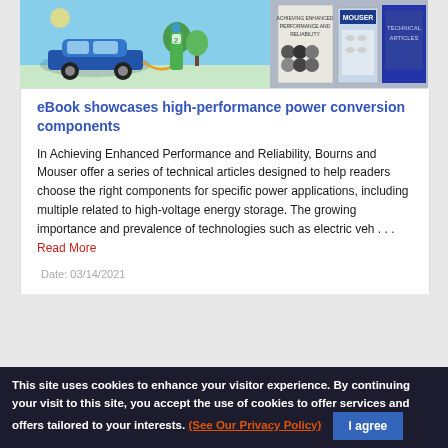[Figure (photo): Composite image showing a blue electric car being charged at a green charging station, with EV and battery-related book/eBook covers in the background]
eBook showcases high-performance power conversion components
In Achieving Enhanced Performance and Reliability, Bourns and Mouser offer a series of technical articles designed to help readers choose the right components for specific power applications, including multiple related to high-voltage energy storage. The growing importance and prevalence of technologies such as electric veh . . . Read More
Date: 03/14/2021
This site uses cookies to enhance your visitor experience. By continuing your visit to this site, you accept the use of cookies to offer services and offers tailored to your interests. (See Our Privacy Policy) I agree